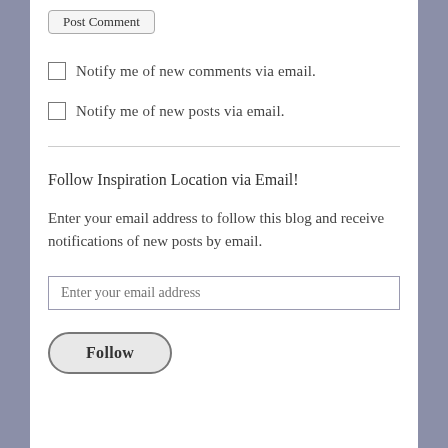Post Comment
Notify me of new comments via email.
Notify me of new posts via email.
Follow Inspiration Location via Email!
Enter your email address to follow this blog and receive notifications of new posts by email.
Enter your email address
Follow